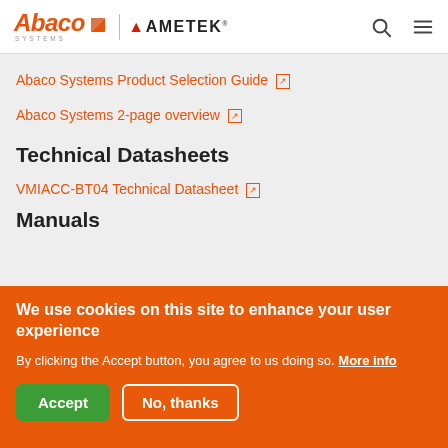Abaco Systems / AMETEK
Abaco Systems Product Selection Guide [external link]
Abaco Systems 2-page overview [external link]
Technical Datasheets
VMIACC-BT04 Technical Datasheet [external link]
Manuals
We use cookies on this site to enhance your user experience
By clicking the Accept button, you agree to us doing so. More info
Accept | No, thanks